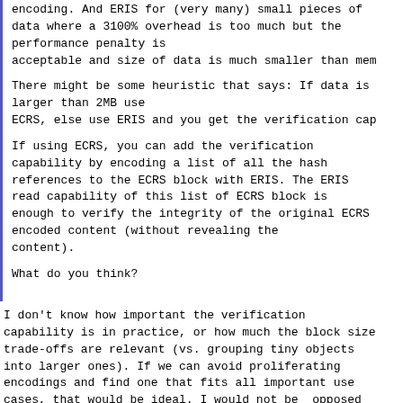encoding. And ERIS for (very many) small pieces of data where a 3100% overhead is too much but the performance penalty is acceptable and size of data is much smaller than mem
There might be some heuristic that says: If data is larger than 2MB use ECRS, else use ERIS and you get the verification cap
If using ECRS, you can add the verification capability by encoding a list of all the hash references to the ECRS block with ERIS. The ERIS read capability of this list of ECRS block is enough to verify the integrity of the original ECRS encoded content (without revealing the content).
What do you think?
I don't know how important the verification capability is in practice, or how much the block size trade-offs are relevant (vs. grouping tiny objects into larger ones). If we can avoid proliferating encodings and find one that fits all important use cases, that would be ideal. I would not be _opposed_ to adopting ERIS in GNUnet (even considering the